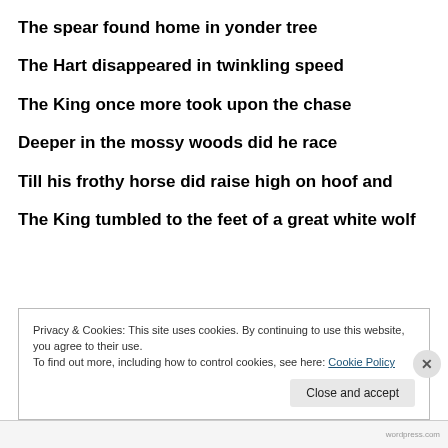The spear found home in yonder tree
The Hart disappeared in twinkling speed
The King once more took upon the chase
Deeper in the mossy woods did he race
Till his frothy horse did raise high on hoof and
The King tumbled to the feet of a great white wolf
Privacy & Cookies: This site uses cookies. By continuing to use this website, you agree to their use.
To find out more, including how to control cookies, see here: Cookie Policy